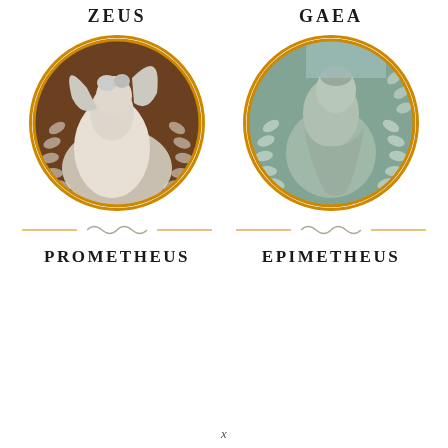ZEUS
GAEA
[Figure (photo): Circular photo with orange border showing a white marble statue of Prometheus with wings, muscular torso, with decorative laurel leaf overlays]
[Figure (photo): Circular photo with orange border showing a painted fresco of Epimetheus in green-grey tones with decorative laurel leaf overlays]
PROMETHEUS
EPIMETHEUS
x